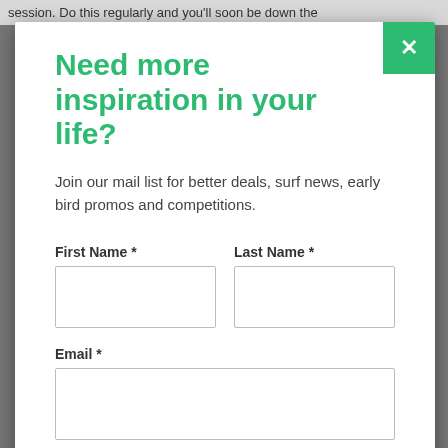session. Do this regularly and you'll soon be down the
Need more inspiration in your life?
Join our mail list for better deals, surf news, early bird promos and competitions.
First Name *
Last Name *
Email *
SUBMIT